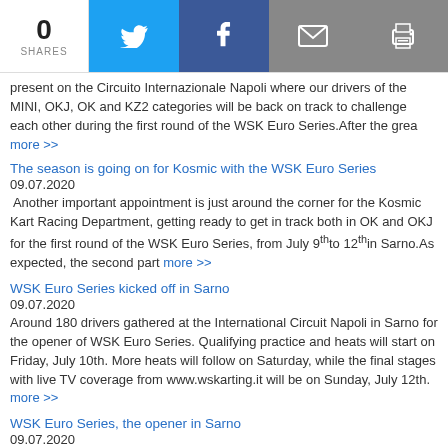0 SHARES | Twitter | Facebook | Email | Print
present on the Circuito Internazionale Napoli where our drivers of the MINI, OKJ, OK and KZ2 categories will be back on track to challenge each other during the first round of the WSK Euro Series.After the grea more >>
The season is going on for Kosmic with the WSK Euro Series
09.07.2020
Another important appointment is just around the corner for the Kosmic Kart Racing Department, getting ready to get in track both in OK and OKJ for the first round of the WSK Euro Series, from July 9thto 12thin Sarno.As expected, the second part more >>
WSK Euro Series kicked off in Sarno
09.07.2020
Around 180 drivers gathered at the International Circuit Napoli in Sarno for the opener of WSK Euro Series. Qualifying practice and heats will start on Friday, July 10th. More heats will follow on Saturday, while the final stages with live TV coverage from www.wskarting.it will be on Sunday, July 12th.  more >>
WSK Euro Series, the opener in Sarno
09.07.2020
The first of the three rounds of WSK Euro Series is about to get underway at the International Circuit Napoli in Sarno from July 9th to 12th. The four categories KZ2, OK, OKJ and MINI on